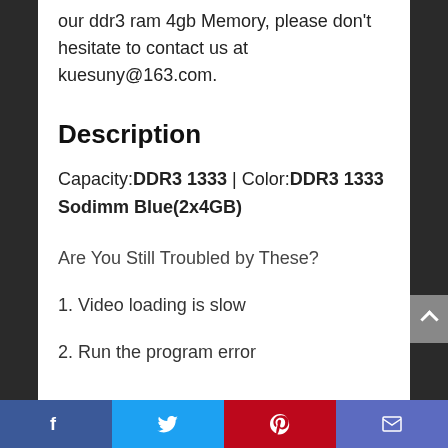our ddr3 ram 4gb Memory, please don't hesitate to contact us at kuesuny@163.com.
Description
Capacity:DDR3 1333 | Color:DDR3 1333 Sodimm Blue(2x4GB)
Are You Still Troubled by These?
1. Video loading is slow
2. Run the program error
Facebook | Twitter | Pinterest | Email